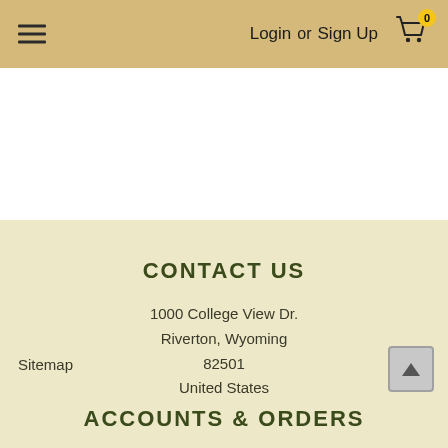≡  Login or Sign Up  🛒 0
CONTACT US
1000 College View Dr.
Riverton, Wyoming
82501
United States
Sitemap
ACCOUNTS & ORDERS